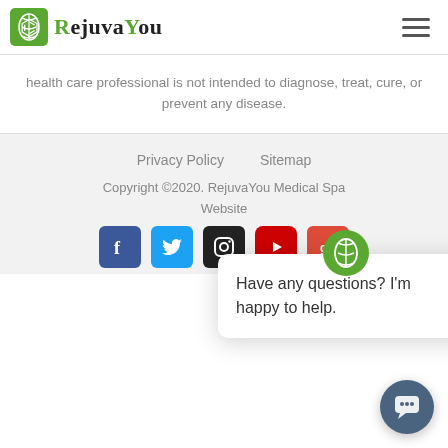[Figure (logo): RejuvaYou logo with green DNA icon and serif text]
health care professional is not intended to diagnose, treat, cure, or prevent any disease.
Privacy Policy   Sitemap
Copyright ©2020. RejuvaYou Medical Spa
Website...
[Figure (infographic): Social media icons: Facebook, Twitter, Instagram, YouTube, Google+]
[Figure (screenshot): Chat popup: Have any questions? I'm happy to help.]